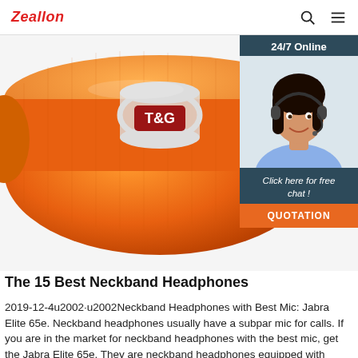Zeallon
[Figure (photo): Orange T&G cylindrical Bluetooth speaker on white background]
[Figure (photo): 24/7 Online chat widget with photo of woman wearing headset, 'Click here for free chat!' text and QUOTATION button]
The 15 Best Neckband Headphones
2019-12-4u2002·u2002Neckband Headphones with Best Mic: Jabra Elite 65e. Neckband headphones usually have a subpar mic for calls. If you are in the market for neckband headphones with the best mic, get the Jabra Elite 65e. They are neckband headphones equipped with triple-mic technology for clearer calls and active